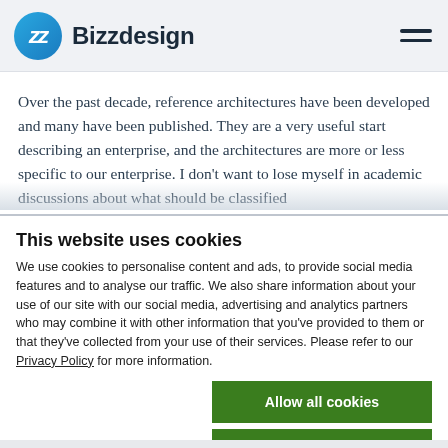Bizzdesign
Over the past decade, reference architectures have been developed and many have been published. They are a very useful start describing an enterprise, and the architectures are more or less specific to our enterprise. I don't want to lose myself in academic discussions about what should be classified
This website uses cookies
We use cookies to personalise content and ads, to provide social media features and to analyse our traffic. We also share information about your use of our site with our social media, advertising and analytics partners who may combine it with other information that you've provided to them or that they've collected from your use of their services. Please refer to our Privacy Policy for more information.
Allow all cookies
Allow selection
Use necessary cookies only